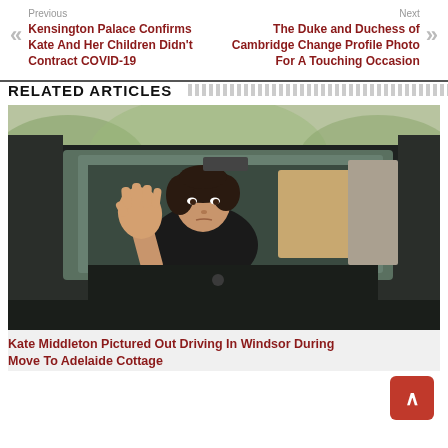Previous
Kensington Palace Confirms Kate And Her Children Didn't Contract COVID-19
Next
The Duke and Duchess of Cambridge Change Profile Photo For A Touching Occasion
RELATED ARTICLES
[Figure (photo): Woman sitting in driver's seat of a dark car, waving her hand toward the camera, seen through the windshield.]
Kate Middleton Pictured Out Driving In Windsor During Move To Adelaide Cottage